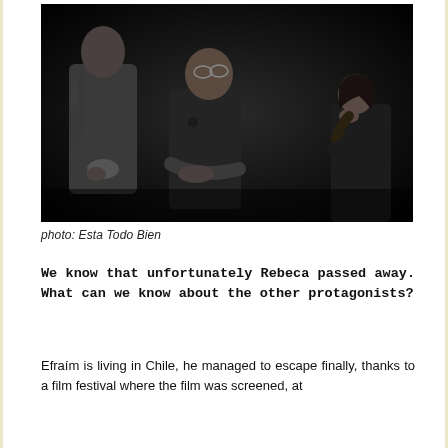[Figure (photo): Black and white photograph showing three people against a dark background: a tall young man on the left with hands clasped, an older bald man with glasses in the center looking to the side, and a woman on the right with her head bowed and hand near her face. The mood is somber and dramatic.]
photo: Esta Todo Bien
We know that unfortunately Rebeca passed away. What can we know about the other protagonists?
Efraím is living in Chile, he managed to escape finally, thanks to a film festival where the film was screened, at